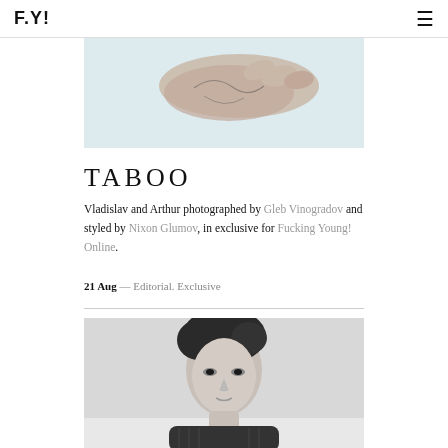F.Y!
[Figure (photo): Close-up photo of a hand/arm with a tattoo against a light blue background]
TABOO
Vladislav and Arthur photographed by Gleb Vinogradov and styled by Nixon Glumov, in exclusive for Fucking Young! Online.
21 Aug — Editorial. Exclusive
[Figure (photo): Black and white portrait photo of a young man with styled dark hair wearing a knit sweater, leaning against a wall]